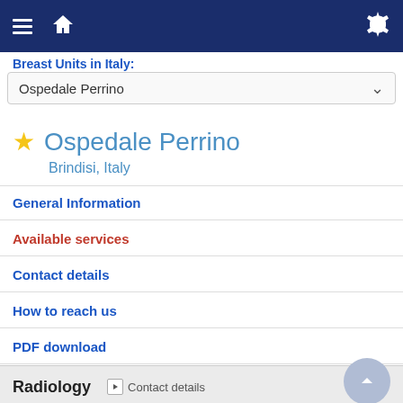[Figure (screenshot): Mobile app navigation bar with hamburger menu, home icon, and settings gear icon on dark blue background]
Breast Units in Italy:
Ospedale Perrino (dropdown selection)
Ospedale Perrino
Brindisi, Italy
General Information
Available services
Contact details
How to reach us
PDF download
Radiology  ▶ Contact details
Dedicated Radiologists 5
Mammograms per year 3000